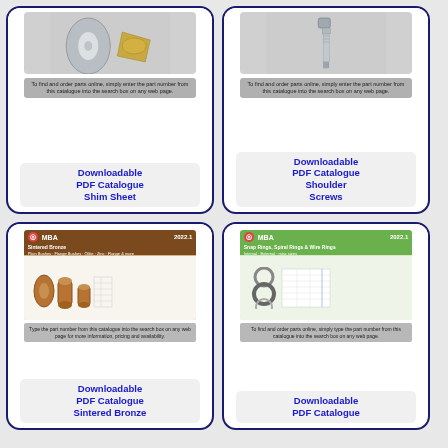[Figure (illustration): Card showing shim sheet metal rolls/pieces image with text box saying to enter part number in search box, and label 'Downloadable PDF Catalogue Shim Sheet']
Downloadable PDF Catalogue Shim Sheet
[Figure (illustration): Card showing shoulder screw image with text box saying to enter part number in search box, and label 'Downloadable PDF Catalogue Shoulder Screws']
Downloadable PDF Catalogue Shoulder Screws
[Figure (illustration): Card showing MBA 2022.1 Sintered Bronze catalogue cover with bronze bushings photo and info text box, and label 'Downloadable PDF Catalogue Sintered Bronze']
Downloadable PDF Catalogue Sintered Bronze
[Figure (illustration): Card showing MBA 2022.1 Snap Rings, Spiral Rings & Wire Rings catalogue cover with rings photo and info text box, and label 'Downloadable PDF Catalogue']